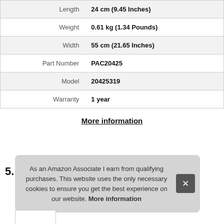| Attribute | Value |
| --- | --- |
| Length | 24 cm (9.45 Inches) |
| Weight | 0.61 kg (1.34 Pounds) |
| Width | 55 cm (21.65 Inches) |
| Part Number | PAC20425 |
| Model | 20425319 |
| Warranty | 1 year |
More information
5.
As an Amazon Associate I earn from qualifying purchases. This website uses the only necessary cookies to ensure you get the best experience on our website. More information